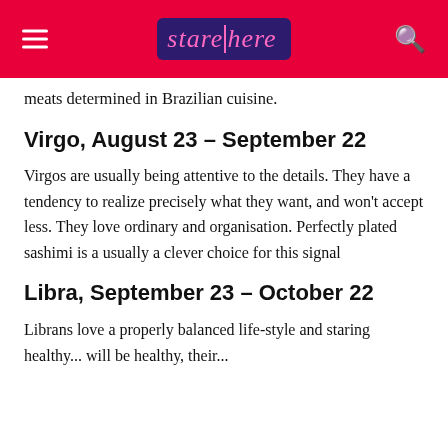stare|here
meats determined in Brazilian cuisine.
Virgo, August 23 – September 22
Virgos are usually being attentive to the details. They have a tendency to realize precisely what they want, and won't accept less. They love ordinary and organisation. Perfectly plated sashimi is a usually a clever choice for this signal
Libra, September 23 – October 22
Librans love a properly balanced life-style and ...